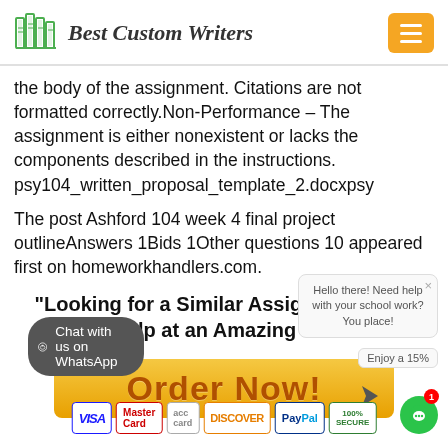[Figure (logo): Best Custom Writers logo with green bookshelf icon and orange menu button]
the body of the assignment. Citations are not formatted correctly.Non-Performance – The assignment is either nonexistent or lacks the components described in the instructions.  psy104_written_proposal_template_2.docxpsy
The post Ashford 104 week 4 final project outlineAnswers 1Bids 1Other questions 10 appeared first on homeworkhandlers.com.
"Looking for a Similar Assignment? Get Expert Help at an Amazing Discount!"
[Figure (other): Orange Order Now! button with cursor icon]
[Figure (other): Chat with us on WhatsApp dark button]
[Figure (other): Payment badges: VISA, MasterCard, Discover, PayPal, 100% Secure]